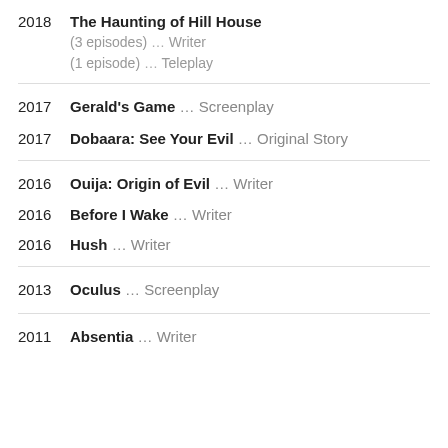2018  The Haunting of Hill House ... Writer / Teleplay  (3 episodes) ... Writer  (1 episode) ... Teleplay
2017  Gerald's Game ... Screenplay
2017  Dobaara: See Your Evil ... Original Story
2016  Ouija: Origin of Evil ... Writer
2016  Before I Wake ... Writer
2016  Hush ... Writer
2013  Oculus ... Screenplay
2011  Absentia ... Writer